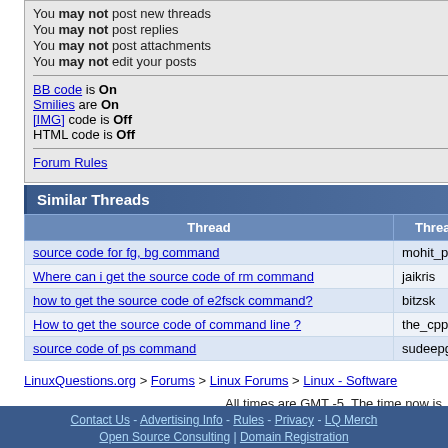You may not post new threads
You may not post replies
You may not post attachments
You may not edit your posts
BB code is On
Smilies are On
[IMG] code is Off
HTML code is Off
Forum Rules
Similar Threads
| Thread | Thread Starter |  |
| --- | --- | --- |
| source code for fg, bg command | mohit_parihar | Linux - |
| Where can i get the source code of rm command | jaikris | Linux - |
| how to get the source code of e2fsck command? | bitzsk | Linux - |
| How to get the source code of command line ? | the_cpp | Program |
| source code of ps command | sudeepghiya | Linux - |
LinuxQuestions.org > Forums > Linux Forums > Linux - Software
All times are GMT -5. The time now is
Contact Us - Advertising Info - Rules - Privacy - LQ Merch
Open Source Consulting | Domain Registration